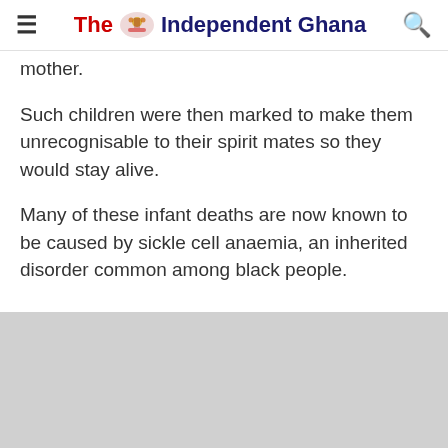The Independent Ghana
mother.
Such children were then marked to make them unrecognisable to their spirit mates so they would stay alive.
Many of these infant deaths are now known to be caused by sickle cell anaemia, an inherited disorder common among black people.